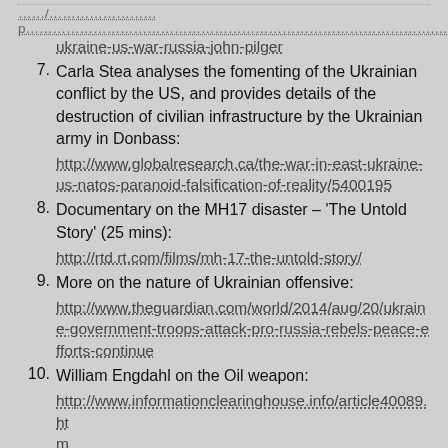…/…………………p………………………………………………………………………………,………
ukraine-us-war-russia-john-pilger
7. Carla Stea analyses the fomenting of the Ukrainian conflict by the US, and provides details of the destruction of civilian infrastructure by the Ukrainian army in Donbass:
http://www.globalresearch.ca/the-war-in-east-ukraine-us-natos-paranoid-falsification-of-reality/5400195
8. Documentary on the MH17 disaster – 'The Untold Story' (25 mins):
http://rtd.rt.com/films/mh-17-the-untold-story/
9. More on the nature of Ukrainian offensive:
http://www.theguardian.com/world/2014/aug/20/ukraine-government-troops-attack-pro-russia-rebels-peace-efforts-continue
10. William Engdahl on the Oil weapon:
http://www.informationclearinghouse.info/article40089.htm
11. Alexander Mercouris details the reality of Merkel's trip to